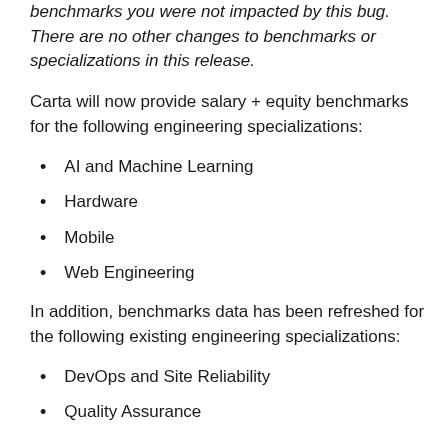benchmarks you were not impacted by this bug. There are no other changes to benchmarks or specializations in this release.
Carta will now provide salary + equity benchmarks for the following engineering specializations:
AI and Machine Learning
Hardware
Mobile
Web Engineering
In addition, benchmarks data has been refreshed for the following existing engineering specializations:
DevOps and Site Reliability
Quality Assurance